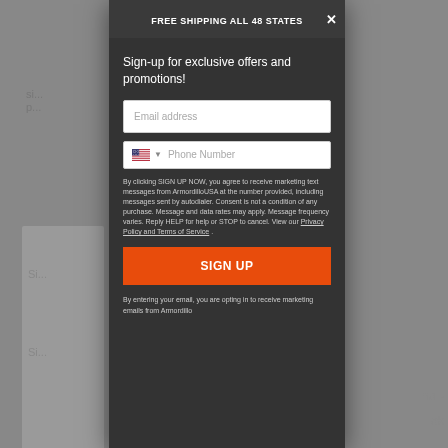FREE SHIPPING ALL 48 STATES
Sign-up for exclusive offers and promotions!
Email address
Phone Number
By clicking SIGN UP NOW, you agree to receive marketing text messages from ArmordilloUSA at the number provided, including messages sent by autodialer. Consent is not a condition of any purchase. Message and data rates may apply. Message frequency varies. Reply HELP for help or STOP to cancel. View our Privacy Policy and Terms of Service .
SIGN UP
By entering your email, you are opting in to receive marketing emails from Armordillo